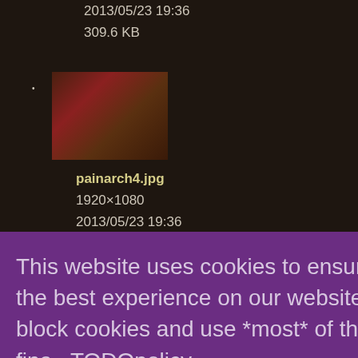2013/05/23 19:36
309.6 KB
[Figure (photo): Thumbnail image of painarch4.jpg showing dark reddish game screenshot]
painarch4.jpg
1920×1080
2013/05/23 19:36
321.5 KB
[Figure (photo): Partial thumbnail of next image, dark brownish game screenshot]
This website uses cookies to ensure you get the best experience on our website. You can block cookies and use *most* of the site just fine. TODOpolicy
Got it!